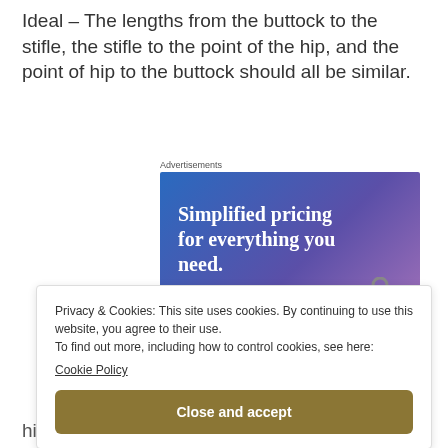Ideal – The lengths from the buttock to the stifle, the stifle to the point of the hip, and the point of hip to the buttock should all be similar.
[Figure (other): Advertisement banner for a website builder service with text 'Simplified pricing for everything you need.' and a 'Build Your Website' button, featuring a price tag graphic on a blue-purple gradient background.]
Privacy & Cookies: This site uses cookies. By continuing to use this website, you agree to their use.
To find out more, including how to control cookies, see here: Cookie Policy
Close and accept
...hind... to stifle...